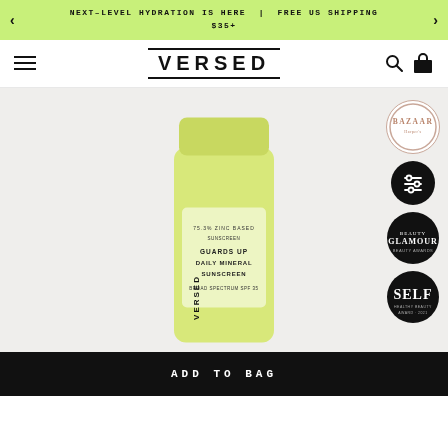NEXT-LEVEL HYDRATION IS HERE | FREE US SHIPPING $35+
[Figure (logo): VERSED brand logo with top and bottom border lines]
[Figure (photo): Yellow tube of Versed Guards Up Daily Mineral Sunscreen Broad Spectrum SPF 35, shown against light gray background, with award badges from Bazaar, Glamour, and SELF magazine on the right side]
ADD TO BAG